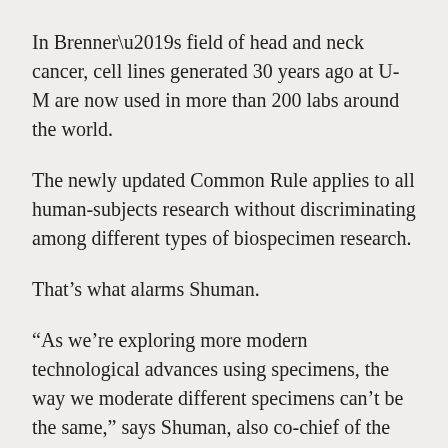In Brenner’s field of head and neck cancer, cell lines generated 30 years ago at U-M are now used in more than 200 labs around the world.
The newly updated Common Rule applies to all human-subjects research without discriminating among different types of biospecimen research.
That’s what alarms Shuman.
“As we’re exploring more modern technological advances using specimens, the way we moderate different specimens can’t be the same,” says Shuman, also co-chief of the Program in Clinical Ethics in the U-M Center for Bioethics and Social Sciences in Medicine.